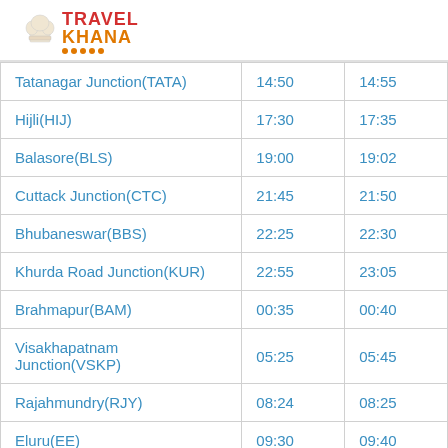[Figure (logo): Travel Khana logo with chef hat icon, red 'TRAVEL' and orange 'KHANA' text with orange dots underline]
| Station | Arrival | Departure |
| --- | --- | --- |
| Tatanagar Junction(TATA) | 14:50 | 14:55 |
| Hijli(HIJ) | 17:30 | 17:35 |
| Balasore(BLS) | 19:00 | 19:02 |
| Cuttack Junction(CTC) | 21:45 | 21:50 |
| Bhubaneswar(BBS) | 22:25 | 22:30 |
| Khurda Road Junction(KUR) | 22:55 | 23:05 |
| Brahmapur(BAM) | 00:35 | 00:40 |
| Visakhapatnam Junction(VSKP) | 05:25 | 05:45 |
| Rajahmundry(RJY) | 08:24 | 08:25 |
| Eluru(EE) | 09:30 | 09:40 |